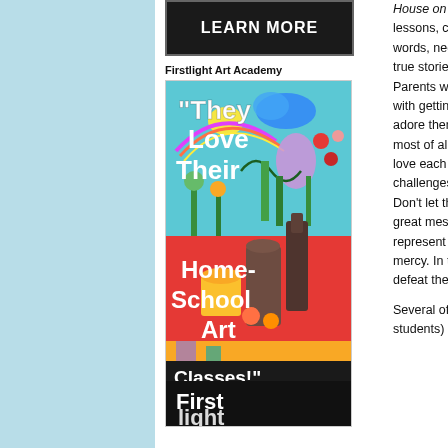[Figure (screenshot): Black button with 'LEARN MORE' text in white bold letters]
Firstlight Art Academy
[Figure (illustration): Colorful art class advertisement image with text 'They Love Their Home-School Art Classes!' and 'First light' at the bottom on black background, featuring colorful children's artwork]
House on the lessons, contai words, neologis true stories wit Parents welcom with getting alo adore them be most of all chil love each othe challenges. Don't let the tit great message represent us (f mercy. In the e defeat the evil
Several of my students) and p